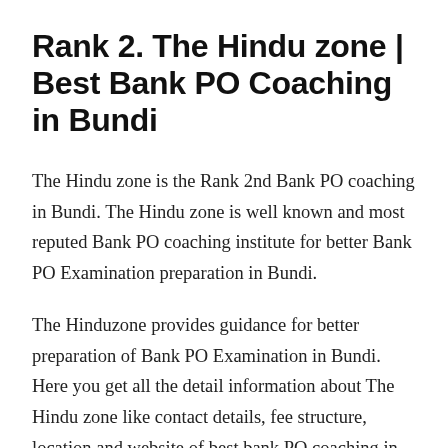Rank 2. The Hindu zone | Best Bank PO Coaching in Bundi
The Hindu zone is the Rank 2nd Bank PO coaching in Bundi. The Hindu zone is well known and most reputed Bank PO coaching institute for better Bank PO Examination preparation in Bundi.
The Hinduzone provides guidance for better preparation of Bank PO Examination in Bundi. Here you get all the detail information about The Hindu zone like contact details, fee structure, location and website of best bank PO coaching in